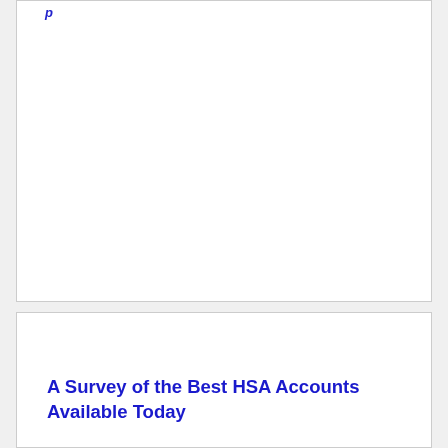A Survey of the Best HSA Accounts Available Today
by Abby Hayes @ Consumerism Commentary